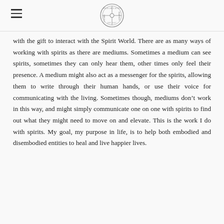[Navigation header with hamburger menu and circular logo]
with the gift to interact with the Spirit World. There are as many ways of working with spirits as there are mediums. Sometimes a medium can see spirits, sometimes they can only hear them, other times only feel their presence. A medium might also act as a messenger for the spirits, allowing them to write through their human hands, or use their voice for communicating with the living. Sometimes though, mediums don’t work in this way, and might simply communicate one on one with spirits to find out what they might need to move on and elevate. This is the work I do with spirits. My goal, my purpose in life, is to help both embodied and disembodied entities to heal and live happier lives.